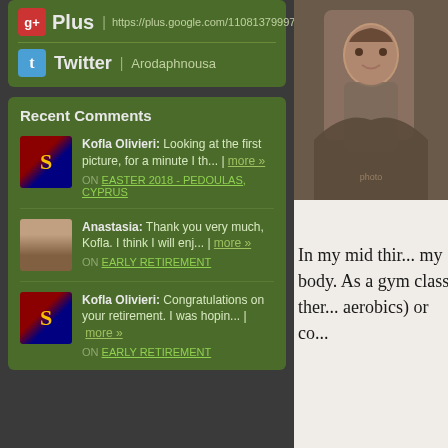Plus | https://plus.google.com/11081379997977330325
Twitter | Arodaphnousa
Recent Comments
Kofla Olivieri: Looking at the first picture, for a minute I th... | more » ON EASTER 2018 - PEDOULAS, CYPRUS
Anastasia: Thank you very much, Kofla. I think I will enj... | more » ON EARLY RETIREMENT
Kofla Olivieri: Congratulations on your retirement. I was hopin... | more » ON EARLY RETIREMENT
[Figure (photo): Photo of person in knitted/textured clothing]
In my mid thir... my body. As a... gym class ther... aerobics) or co...